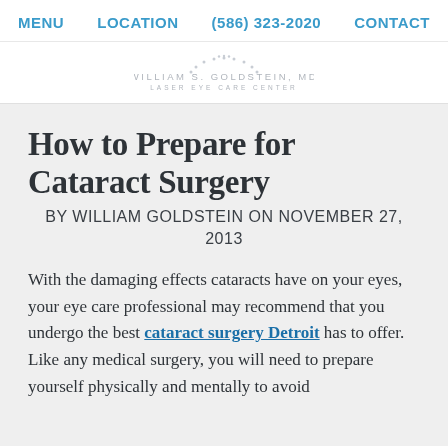MENU   LOCATION   (586) 323-2020   CONTACT
[Figure (logo): William S. Goldstein, MD Laser Eye Care Center logo with dotted arc above text]
How to Prepare for Cataract Surgery
BY WILLIAM GOLDSTEIN ON NOVEMBER 27, 2013
With the damaging effects cataracts have on your eyes, your eye care professional may recommend that you undergo the best cataract surgery Detroit has to offer. Like any medical surgery, you will need to prepare yourself physically and mentally to avoid